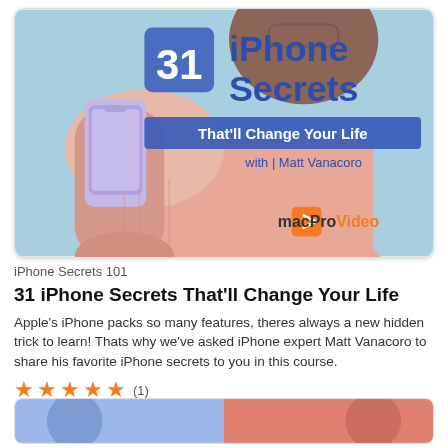[Figure (illustration): Course thumbnail: Woman in pink sweater holding an iPhone. Large blue text '31 iPhone Secrets That'll Change Your Life with Matt Vanacoro'. macProVideo logo in orange bottom right. Light blue background.]
iPhone Secrets 101
31 iPhone Secrets That'll Change Your Life
Apple's iPhone packs so many features, theres always a new hidden trick to learn! Thats why we've asked iPhone expert Matt Vanacoro to share his favorite iPhone secrets to you in this course.
★★★★★ (1)
[Figure (illustration): Bottom partial thumbnail strip showing colorful course card imagery.]